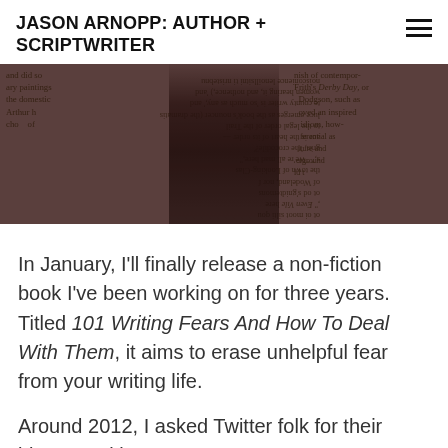JASON ARNOPP: AUTHOR + SCRIPTWRITER
[Figure (photo): A person with long dark hair, seen from behind, with text from a book printed/overlaid on their body and the background.]
In January, I'll finally release a non-fiction book I've been working on for three years.  Titled 101 Writing Fears And How To Deal With Them, it aims to erase unhelpful fear from your writing life.
Around 2012, I asked Twitter folk for their biggest writing-